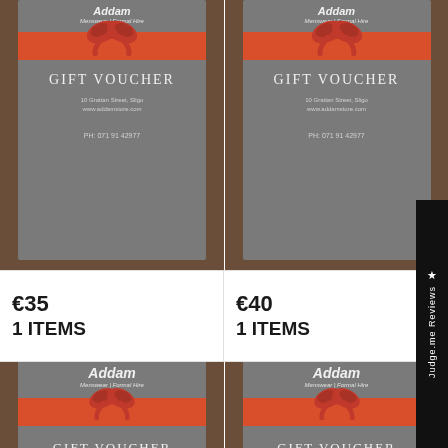[Figure (photo): Two Addam Menswear gift voucher cards on a wooden surface — gray card with red ribbon and bow, showing 'Gift Voucher', '10 Grattan Street, Sligo', 'www.addamstore.com', 'PH: 071 91 42977']
€35
1 ITEMS
€40
1 ITEMS
[Figure (photo): Two more Addam Menswear gift voucher cards showing the top portion with brand name and partial 'Gift Voucher' text with red ribbon]